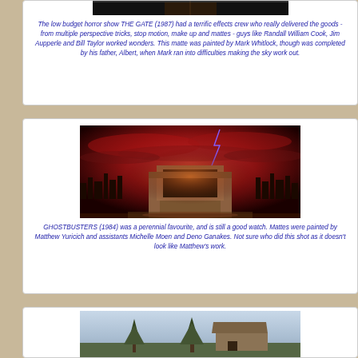[Figure (photo): Top portion of a film still from THE GATE (1987), dark toned image]
The low budget horror show THE GATE (1987) had a terrific effects crew who really delivered the goods - from multiple perspective tricks, stop motion, make up and mattes - guys like Randall William Cook, Jim Aupperle and Bill Taylor worked wonders.  This matte was painted by Mark Whitlock, though was completed by his father, Albert, when Mark ran into difficulties making the sky work out.
[Figure (photo): Film still from GHOSTBUSTERS (1984) showing an ancient temple/building with dramatic red sky and lightning above a city skyline]
GHOSTBUSTERS (1984) was a perennial favourite, and is still a good watch.  Mattes were painted by Matthew Yuricich and assistants Michelle Moen and Deno Ganakes.  Not sure who did this shot as it doesn't look like Matthew's work.
[Figure (photo): Partial view of a countryside scene with trees and a building, from a film matte painting]